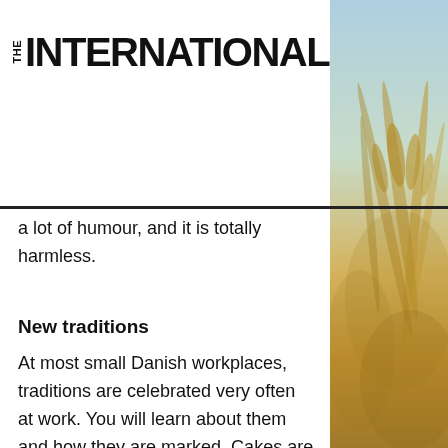THE INTERNATIONAL
a lot of humour, and it is totally harmless.
New traditions
At most small Danish workplaces, traditions are celebrated very often at work. You will learn about them and how they are marked. Cakes are involved in most celebrations in Denmark. For example, you may have already known that it is the birthday person who treats other colleagues to cake on their birthday.  Round birthdays
[Figure (photo): Blurred close-up photo of wheat or grain stalks against a light sky background, warm golden tones]